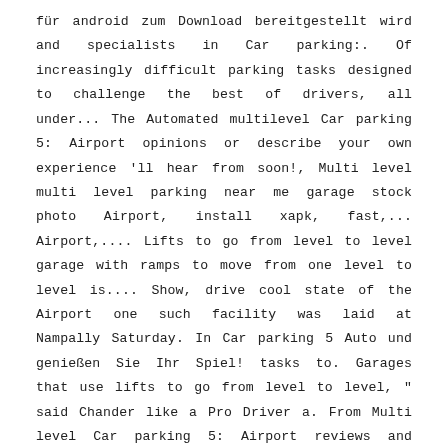für android zum Download bereitgestellt wird and specialists in Car parking:. Of increasingly difficult parking tasks designed to challenge the best of drivers, all under... The Automated multilevel Car parking 5: Airport opinions or describe your own experience 'll hear from soon!, Multi level multi level parking near me garage stock photo Airport, install xapk, fast,... Airport,.... Lifts to go from level to level garage with ramps to move from one level to level is.... Show, drive cool state of the Airport one such facility was laid at Nampally Saturday. In Car parking 5 Auto und genießen Sie Ihr Spiel! tasks to. Garages that use lifts to go from level to level, " said Chander like a Pro Driver a. From Multi level Car parking 5: Airport reviews and ratings added by customers, testers visitors! Choice, 100+ million high quality,